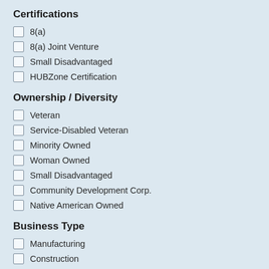Certifications
8(a)
8(a) Joint Venture
Small Disadvantaged
HUBZone Certification
Ownership / Diversity
Veteran
Service-Disabled Veteran
Minority Owned
Woman Owned
Small Disadvantaged
Community Development Corp.
Native American Owned
Business Type
Manufacturing
Construction